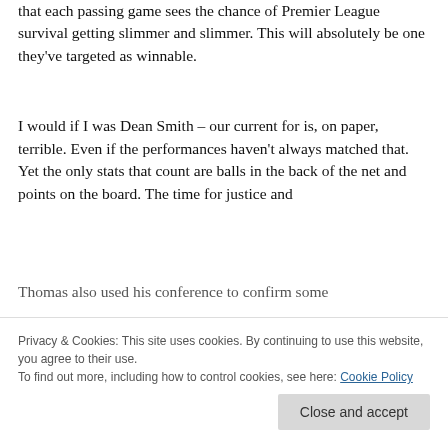that each passing game sees the chance of Premier League survival getting slimmer and slimmer. This will absolutely be one they've targeted as winnable.
I would if I was Dean Smith – our current for is, on paper, terrible. Even if the performances haven't always matched that. Yet the only stats that count are balls in the back of the net and points on the board. The time for justice and
Thomas also used his conference to confirm some
Privacy & Cookies: This site uses cookies. By continuing to use this website, you agree to their use.
To find out more, including how to control cookies, see here: Cookie Policy